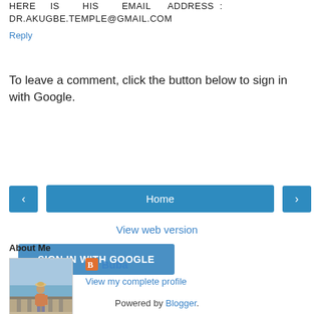HERE IS HIS EMAIL ADDRESS : DR.AKUGBE.TEMPLE@GMAIL.COM
Reply
To leave a comment, click the button below to sign in with Google.
SIGN IN WITH GOOGLE
[Figure (other): Navigation row with left arrow button, Home button, and right arrow button]
View web version
About Me
[Figure (photo): Profile photo of a person standing near a seaside stone railing with water and sky in background]
Buba
View my complete profile
Powered by Blogger.